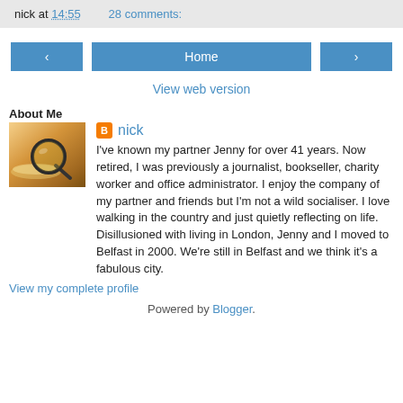nick at 14:55   28 comments:
‹  Home  ›  View web version
About Me
[Figure (photo): Profile photo showing a magnifying glass on an open book with warm golden tones]
nick
I've known my partner Jenny for over 41 years. Now retired, I was previously a journalist, bookseller, charity worker and office administrator. I enjoy the company of my partner and friends but I'm not a wild socialiser. I love walking in the country and just quietly reflecting on life. Disillusioned with living in London, Jenny and I moved to Belfast in 2000. We're still in Belfast and we think it's a fabulous city.
View my complete profile
Powered by Blogger.